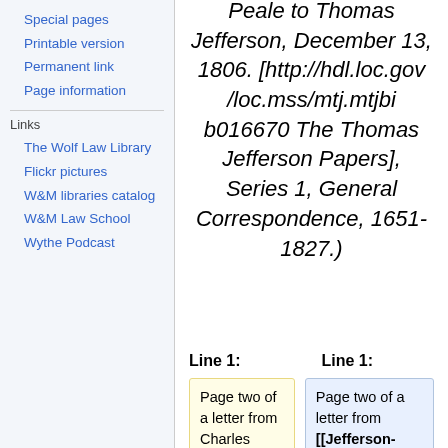Special pages
Printable version
Permanent link
Page information
Links
The Wolf Law Library
Flickr pictures
W&M libraries catalog
W&M Law School
Wythe Podcast
Peale to Thomas Jefferson, December 13, 1806. [http://hdl.loc.gov/loc.mss/mtj.mtjbib016670 The Thomas Jefferson Papers], Series 1, General Correspondence, 1651-1827.)
Line 1:
Line 1:
Page two of a letter from Charles Wilson Peale to Thomas Jefferson,
Page two of a letter from [[Jefferson-Peale Correspondenc